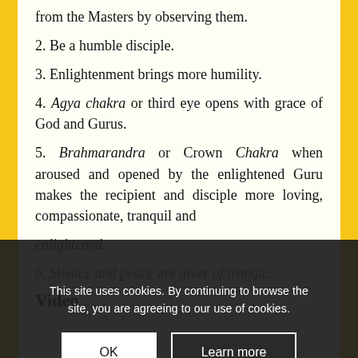from the Masters by observing them.
2. Be a humble disciple.
3. Enlightenment brings more humility.
4. Agya chakra or third eye opens with grace of God and Gurus.
5. Brahmarandra or Crown Chakra when aroused and opened by the enlightened Guru makes the recipient and disciple more loving, compassionate, tranquil and
enlightened.
6. Silence and peace are giver of tranqu...
Video
This site uses cookies. By continuing to browse the site, you are agreeing to our use of cookies.